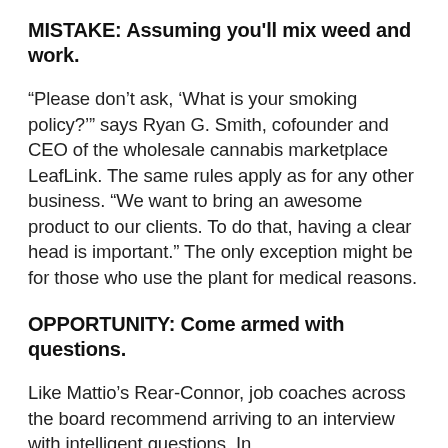MISTAKE: Assuming you'll mix weed and work.
“Please don’t ask, ‘What is your smoking policy?’” says Ryan G. Smith, cofounder and CEO of the wholesale cannabis marketplace LeafLink. The same rules apply as for any other business. “We want to bring an awesome product to our clients. To do that, having a clear head is important.” The only exception might be for those who use the plant for medical reasons.
OPPORTUNITY: Come armed with questions.
Like Mattio’s Rear-Connor, job coaches across the board recommend arriving to an interview with intelligent questions. In